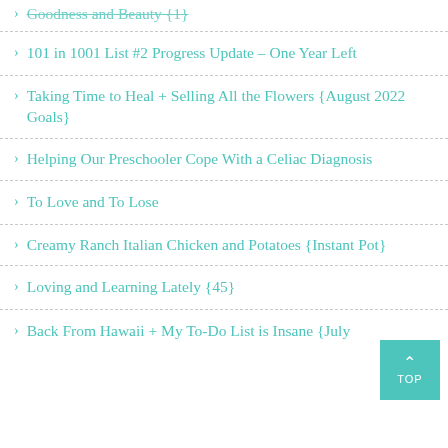Goodness and Beauty {1}
101 in 1001 List #2 Progress Update – One Year Left
Taking Time to Heal + Selling All the Flowers {August 2022 Goals}
Helping Our Preschooler Cope With a Celiac Diagnosis
To Love and To Lose
Creamy Ranch Italian Chicken and Potatoes {Instant Pot}
Loving and Learning Lately {45}
Back From Hawaii + My To-Do List is Insane {July